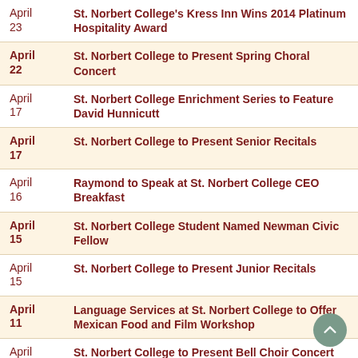April 23 — St. Norbert College's Kress Inn Wins 2014 Platinum Hospitality Award
April 22 — St. Norbert College to Present Spring Choral Concert
April 17 — St. Norbert College Enrichment Series to Feature David Hunnicutt
April 17 — St. Norbert College to Present Senior Recitals
April 16 — Raymond to Speak at St. Norbert College CEO Breakfast
April 15 — St. Norbert College Student Named Newman Civic Fellow
April 15 — St. Norbert College to Present Junior Recitals
April 11 — Language Services at St. Norbert College to Offer Mexican Food and Film Workshop
April 11 — St. Norbert College to Present Bell Choir Concert
April 11 — St. Norbert College to Present Faculty Vocal Recital